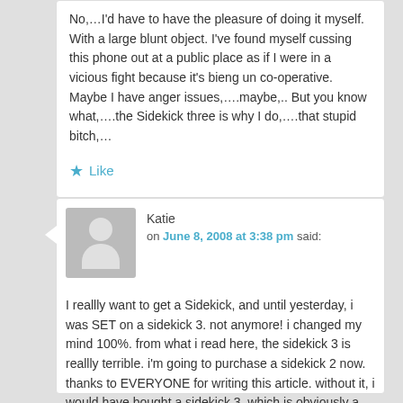No,…I'd have to have the pleasure of doing it myself. With a large blunt object. I've found myself cussing this phone out at a public place as if I were in a vicious fight because it's bieng un co-operative. Maybe I have anger issues,….maybe,.. But you know what,….the Sidekick three is why I do,….that stupid bitch,…
★ Like
Katie
on June 8, 2008 at 3:38 pm said:
I reallly want to get a Sidekick, and until yesterday, i was SET on a sidekick 3. not anymore! i changed my mind 100%. from what i read here, the sidekick 3 is reallly terrible. i'm going to purchase a sidekick 2 now. thanks to EVERYONE for writing this article. without it, i would have bought a sidekick 3, which is obviously a mistake.